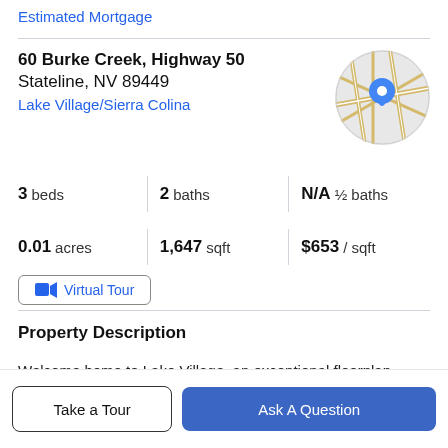Estimated Mortgage
60 Burke Creek, Highway 50
Stateline, NV 89449
Lake Village/Sierra Colina
[Figure (map): Circular map thumbnail showing street map with a blue location pin marker]
3 beds | 2 baths | N/A ½ baths
0.01 acres | 1,647 sqft | $653 / sqft
Virtual Tour
Property Description
Welcome home to Lake Village, an exceptional floorplan awaits with this fully renovated three bedroom two bath
appliances, including induction stove, solid wood
Take a Tour
Ask A Question